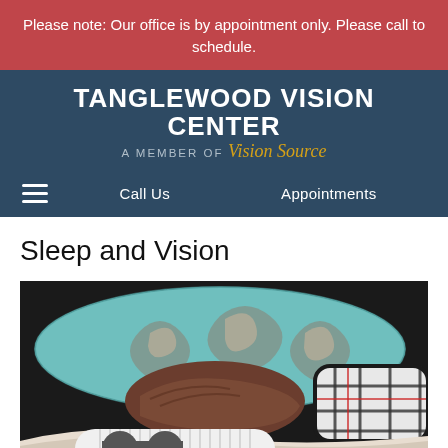Please note: Our office is by appointment only. Please call to schedule.
TANGLEWOOD VISION CENTER
A MEMBER OF Vision Source
Call Us  Appointments
Sleep and Vision
[Figure (photo): Person sleeping on a decorative teal pillow with baroque patterns, wearing a black and white plaid sleep mask, dressed in light-colored clothing. Dark background.]